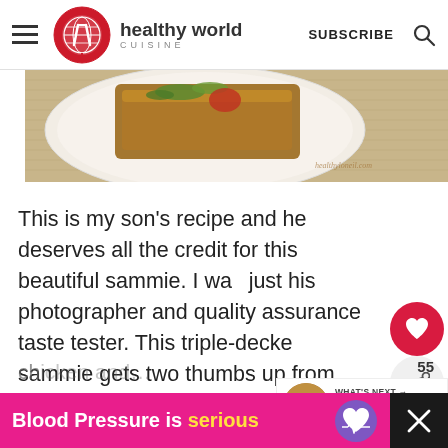healthy world CUISINE — SUBSCRIBE
[Figure (photo): Food photo showing a sandwich or toast on a white plate with garnish, on a burlap background. Watermark visible.]
This is my son's recipe and he deserves all the credit for this beautiful sammie. I was just his photographer and quality assurance taste tester. This triple-decker sammie gets two thumbs up from... really like the combination of the grilled
[Figure (other): What's Next promotional widget showing Chorizo and Cream Chee... with a thumbnail photo and arrow label]
[Figure (infographic): Blood Pressure is serious advertisement banner in pink with purple heart icon]